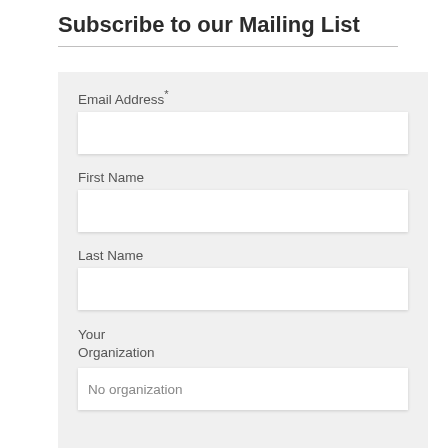Subscribe to our Mailing List
Email Address*
First Name
Last Name
Your Organization
No organization